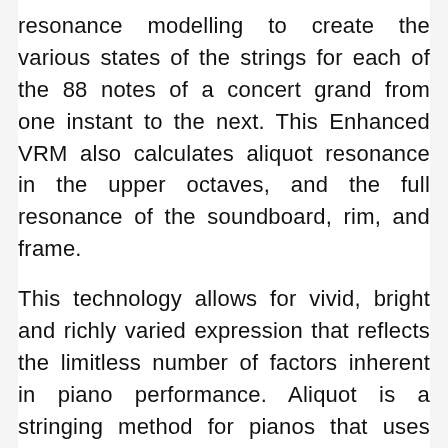resonance modelling to create the various states of the strings for each of the 88 notes of a concert grand from one instant to the next. This Enhanced VRM also calculates aliquot resonance in the upper octaves, and the full resonance of the soundboard, rim, and frame.
This technology allows for vivid, bright and richly varied expression that reflects the limitless number of factors inherent in piano performance. Aliquot is a stringing method for pianos that uses extra, un-struck strings in the upper octaves to enhance the tone. These strings sympathetically vibrate with other strings in an acoustic piano, resonating with overtones, and adding richness, brilliance and complex colour to the sound. Since they do not have a damper, they will continue sounding even after you release your hands from the